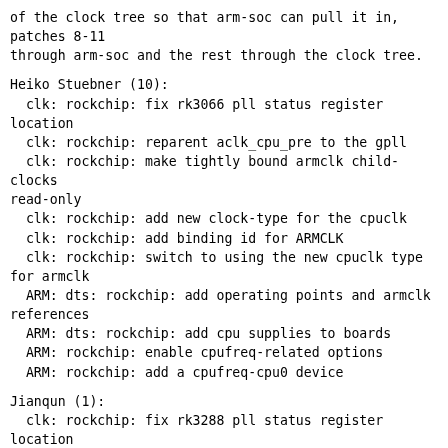of the clock tree so that arm-soc can pull it in,
patches 8-11
through arm-soc and the rest through the clock tree.
Heiko Stuebner (10):
  clk: rockchip: fix rk3066 pll status register
location
  clk: rockchip: reparent aclk_cpu_pre to the gpll
  clk: rockchip: make tightly bound armclk child-clocks
read-only
  clk: rockchip: add new clock-type for the cpuclk
  clk: rockchip: add binding id for ARMCLK
  clk: rockchip: switch to using the new cpuclk type
for armclk
  ARM: dts: rockchip: add operating points and armclk
references
  ARM: dts: rockchip: add cpu supplies to boards
  ARM: rockchip: enable cpufreq-related options
  ARM: rockchip: add a cpufreq-cpu0 device
Jianqun (1):
  clk: rockchip: fix rk3288 pll status register
location
arch/arm/boot/dts/rk3066a-bqcurie2.dts        |    4 +
 arch/arm/boot/dts/rk3066a.dtsi               |   12 +-
 arch/arm/boot/dts/rk3188-radxarock.dts       |    6 +-
 arch/arm/boot/dts/rk3188.dtsi                |   15 +-
 arch/arm/boot/dts/rk3288.dtsi                |   17 +-